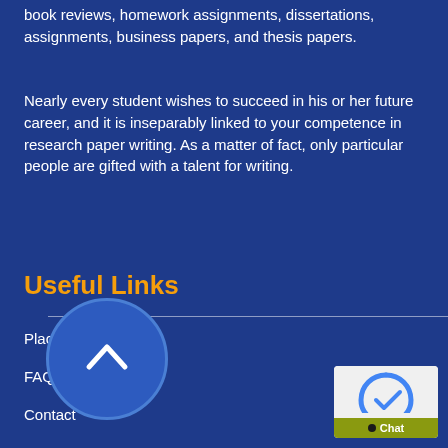book reviews, homework assignments, dissertations, assignments, business papers, and thesis papers.
Nearly every student wishes to succeed in his or her future career, and it is inseparably linked to your competence in research paper writing. As a matter of fact, only particular people are gifted with a talent for writing.
Useful Links
Place order
FAQs
Contact